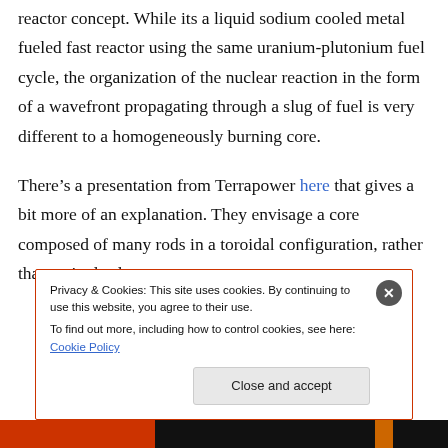reactor concept. While its a liquid sodium cooled metal fueled fast reactor using the same uranium-plutonium fuel cycle, the organization of the nuclear reaction in the form of a wavefront propagating through a slug of fuel is very different to a homogeneously burning core.
There’s a presentation from Terrapower here that gives a bit more of an explanation. They envisage a core composed of many rods in a toroidal configuration, rather than a single slug.
Privacy & Cookies: This site uses cookies. By continuing to use this website, you agree to their use.
To find out more, including how to control cookies, see here: Cookie Policy